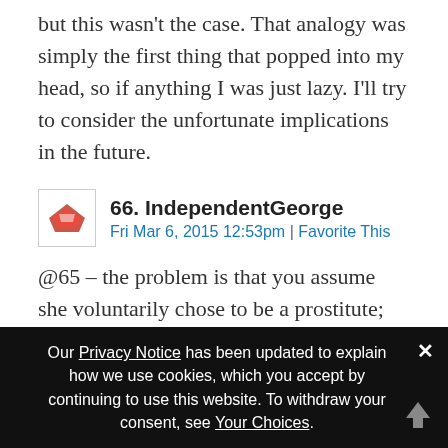but this wasn't the case. That analogy was simply the first thing that popped into my head, so if anything I was just lazy. I'll try to consider the unfortunate implications in the future.
66. IndependentGeorge
Fri Mar 6, 2015 12:53pm | Favorite This
@65 – the problem is that you assume she voluntarily chose to be a prostitute; given their location, I would bet anything that she is a slave, and cannot consent. This is a much different situation than Braavos, where they were free to offer their services or not.
Our Privacy Notice has been updated to explain how we use cookies, which you accept by continuing to use this website. To withdraw your consent, see Your Choices.